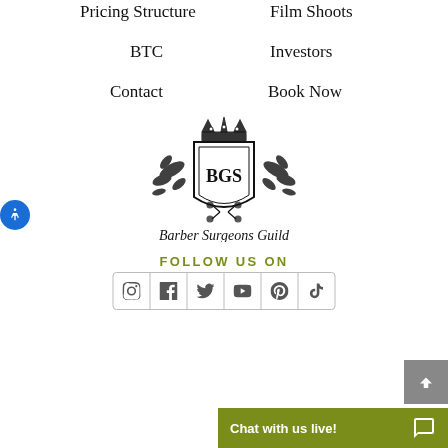Pricing Structure
Film Shoots
BTC
Investors
Contact
Book Now
[Figure (logo): Barber Surgeons Guild crest logo with crown, shield inscribed BGS, and decorative flourishes, with cursive text 'Barber Surgeons Guild' below]
FOLLOW US ON
[Figure (infographic): Social media icon bar with Instagram, Facebook, Twitter, YouTube, Pinterest, and TikTok icons in a bordered row]
Chat with us live!